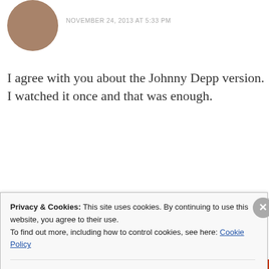[Figure (illustration): Brown circular avatar for a commenter]
NOVEMBER 24, 2013 AT 5:33 PM
I agree with you about the Johnny Depp version. I watched it once and that was enough.
REPLY
[Figure (logo): MAD magazine logo circular avatar in yellow and red]
The New Roald Dahl
NOVEMBER 25, 2013 AT 8:33 AM
Privacy & Cookies: This site uses cookies. By continuing to use this website, you agree to their use.
To find out more, including how to control cookies, see here: Cookie Policy
Close and accept